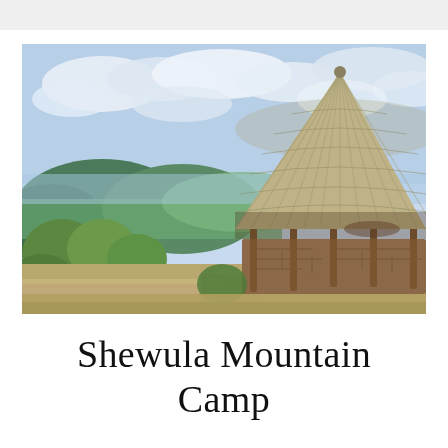[Figure (photo): A thatched-roof round hut (rondavel) built with stone walls and wooden poles, situated on a hilltop with sweeping views of green valleys and mountains in the background, under a partly cloudy sky. Lush green shrubs and trees surround the structure.]
Shewula Mountain Camp